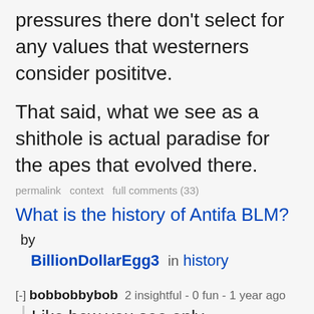pressures there don't select for any values that westerners consider posititve.
That said, what we see as a shithole is actual paradise for the apes that evolved there.
permalink  context  full comments (33)
What is the history of Antifa BLM?  by BillionDollarEgg3  in  history
[-] bobbobbybob  2 insightful - 0 fun - 1 year ago
Like how you see only hopelessness in their future